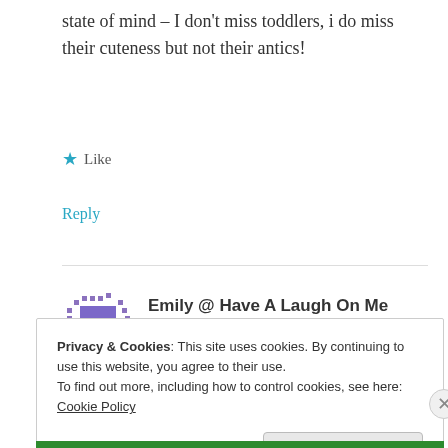state of mind – I don't miss toddlers, i do miss their cuteness but not their antics!
★ Like
Reply
Emily @ Have A Laugh On Me
AUGUST 4, 2015 AT 5:36 PM
Grr my comment got gobbled!! Great post – and
Privacy & Cookies: This site uses cookies. By continuing to use this website, you agree to their use.
To find out more, including how to control cookies, see here: Cookie Policy
Close and accept